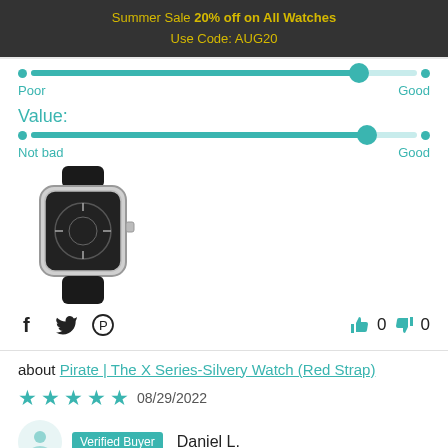Summer Sale 20% off on All Watches
Use Code: AUG20
[Figure (infographic): Slider showing quality rating near 'Good' end, with 'Poor' on left and 'Good' on right]
Value:
[Figure (infographic): Slider showing value rating near 'Good' end, with 'Not bad' on left and 'Good' on right]
[Figure (photo): Watch product photo: skeleton dial watch with black rubber strap, silver case]
f  Twitter  Pinterest icon row | thumbs up 0  thumbs down 0
about Pirate | The X Series-Silvery Watch (Red Strap)
★★★★★  08/29/2022
Verified Buyer  Daniel L.